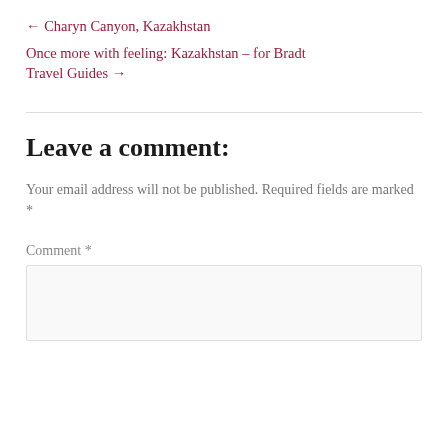← Charyn Canyon, Kazakhstan
Once more with feeling: Kazakhstan – for Bradt Travel Guides →
Leave a comment:
Your email address will not be published. Required fields are marked *
Comment *